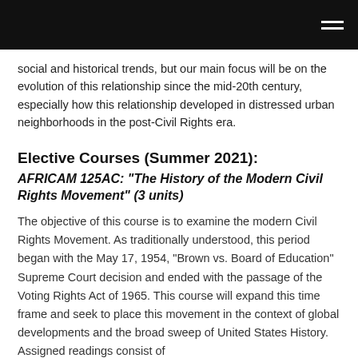social and historical trends, but our main focus will be on the evolution of this relationship since the mid-20th century, especially how this relationship developed in distressed urban neighborhoods in the post-Civil Rights era.
Elective Courses (Summer 2021):
AFRICAM 125AC: “The History of the Modern Civil Rights Movement” (3 units)
The objective of this course is to examine the modern Civil Rights Movement. As traditionally understood, this period began with the May 17, 1954, “Brown vs. Board of Education” Supreme Court decision and ended with the passage of the Voting Rights Act of 1965. This course will expand this time frame and seek to place this movement in the context of global developments and the broad sweep of United States History. Assigned readings consist of